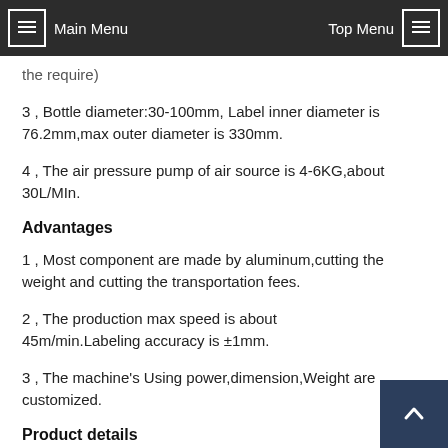Main Menu  Top Menu
the require)
3 , Bottle diameter:30-100mm, Label inner diameter is 76.2mm,max outer diameter is 330mm.
4 , The air pressure pump of air source is 4-6KG,about 30L/MIn.
Advantages
1 , Most component are made by aluminum,cutting the weight and cutting the transportation fees.
2 , The production max speed is about 45m/min.Labeling accuracy is ±1mm.
3 , The machine's Using power,dimension,Weight are customized.
Product details